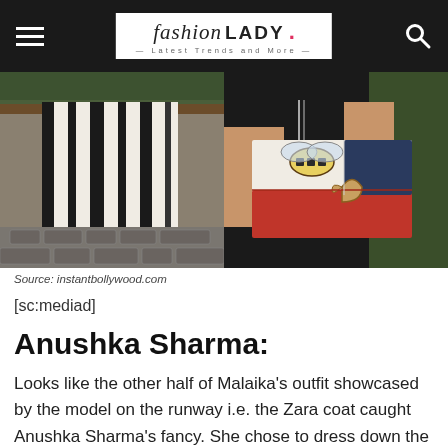fashion LADY - Latest Trends and More
[Figure (photo): Two fashion photos side by side: left shows striped wide-leg pants (black and white), right shows a person holding a Gucci Dionysus bee bag with red, white, and navy colorblock design]
Source: instantbollywood.com
[sc:mediad]
Anushka Sharma:
Looks like the other half of Malaika's outfit showcased by the model on the runway i.e. the Zara coat caught Anushka Sharma's fancy. She chose to dress down the piece with